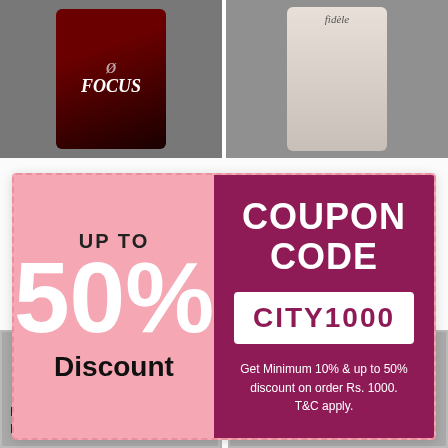[Figure (screenshot): E-commerce product grid background showing two pet food products (Focus brand and Fidele brand) in the top row, and two product cards at the bottom (Bully's Best Bully Fuel Milk Flavour 500g and Zoetis Pet Tab Vitamin-Mineral Supplement 60 Tablets).]
[Figure (infographic): Coupon banner popup overlay on the e-commerce page. Left half (pink): 'UP TO 50% Discount'. Right half (magenta): 'COUPON CODE' with code box showing 'CITY1000' and fine print 'Get Minimum 10% & up to 50% discount on order Rs. 1000. T&C apply.']
UP TO
50%
Discount
COUPON CODE
CITY1000
Get Minimum 10% & up to 50% discount on order Rs. 1000. T&C apply.
CLOSE
Bully's Best Bully Fuel Milk Flavour 500 g Performance...
Zoetis Pet Tab Vitamin-Mineral Supplement 60 Table...